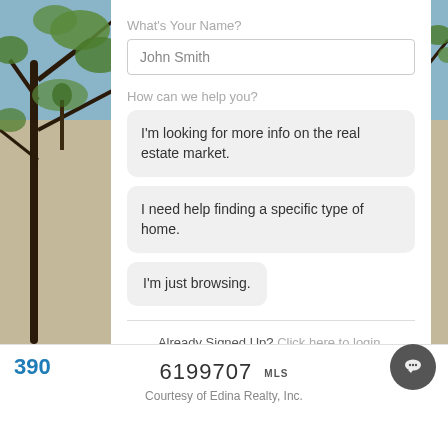[Figure (photo): Background nature photo showing tree branches with green leaves against sky, visible on left and right edges of the page]
What's Your Name?
John Smith
How can we help you?
I'm looking for more info on the real estate market.
I need help finding a specific type of home.
I'm just browsing.
Already Signed Up? Click here to login.
390
6199707 MLS
Courtesy of Edina Realty, Inc.